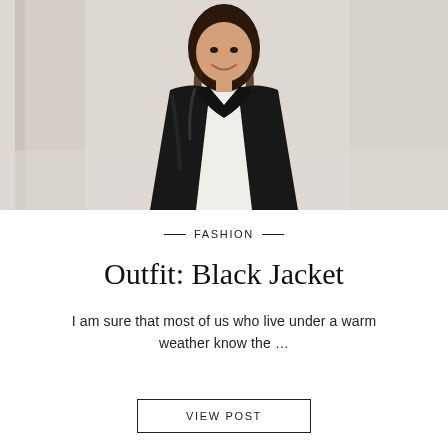[Figure (photo): Young woman with long dark hair smiling, wearing a black leather jacket over a white shirt, standing in a bright interior with curtains/columns in background]
—FASHION—
Outfit: Black Jacket
I am sure that most of us who live under a warm weather know the …
VIEW POST